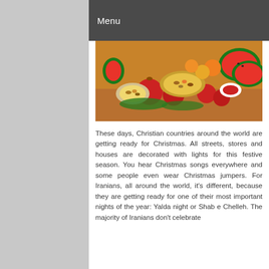Menu
[Figure (photo): A festive spread of fruits and foods including pomegranates, watermelon, oranges, nuts in bowls, and other colorful foods arranged on a table — traditional Yalda night (Shab e Chelleh) spread.]
These days, Christian countries around the world are getting ready for Christmas. All streets, stores and houses are decorated with lights for this festive season. You hear Christmas songs everywhere and some people even wear Christmas jumpers. For Iranians, all around the world, it's different, because they are getting ready for one of their most important nights of the year: Yalda night or Shab e Chelleh. The majority of Iranians don't celebrate